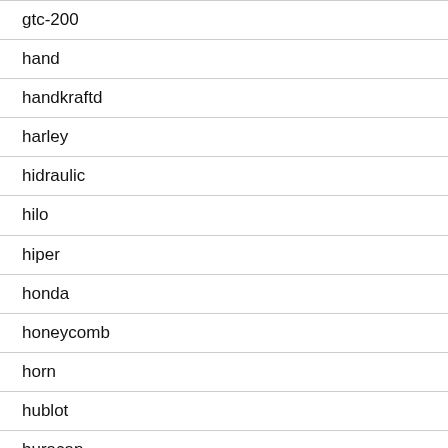gtc-200
hand
handkraftd
harley
hidraulic
hilo
hiper
honda
honeycomb
horn
hublot
huracan
hydraulic